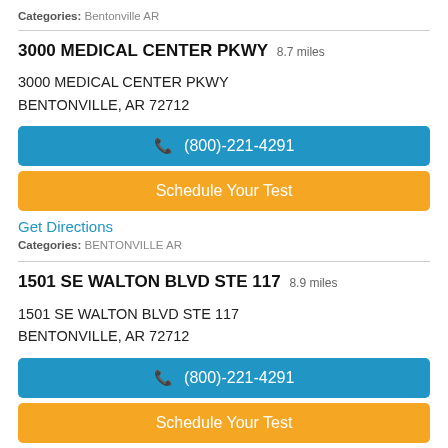Categories: Bentonville AR
3000 MEDICAL CENTER PKWY 8.7 miles
3000 MEDICAL CENTER PKWY
BENTONVILLE, AR 72712
(800)-221-4291
Schedule Your Test
Get Directions
Categories: BENTONVILLE AR
1501 SE WALTON BLVD STE 117 8.9 miles
1501 SE WALTON BLVD STE 117
BENTONVILLE, AR 72712
(800)-221-4291
Schedule Your Test